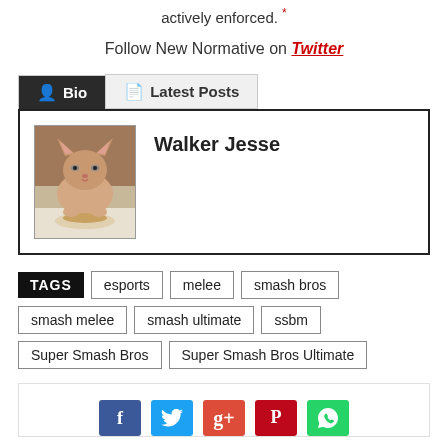actively enforced.
Follow New Normative on Twitter
Bio | Latest Posts
Walker Jesse
[Figure (photo): Photo of a hairless cat (Sphynx) eating or interacting with food on a white surface]
esports
melee
smash bros
smash melee
smash ultimate
ssbm
Super Smash Bros
Super Smash Bros Ultimate
[Figure (other): Social media sharing buttons: Facebook, Twitter, Google+, Pinterest, WhatsApp]